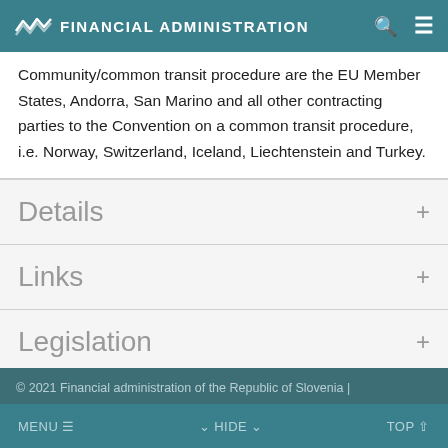FINANCIAL ADMINISTRATION
Community/common transit procedure are the EU Member States, Andorra, San Marino and all other contracting parties to the Convention on a common transit procedure, i.e. Norway, Switzerland, Iceland, Liechtenstein and Turkey.
Details
Links
Legislation
© 2021 Financial administration of the Republic of Slovenia |
MENU  ☰      ⌄ HIDE ⌄      TOP ↑